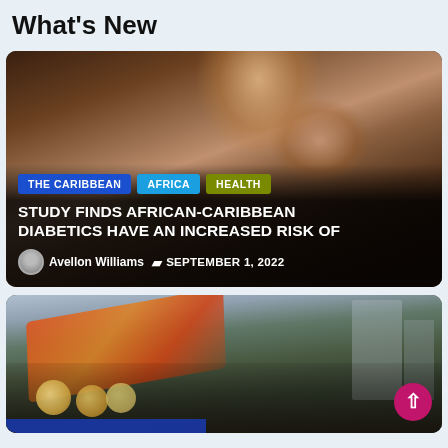What's New
[Figure (photo): Close-up photo of a person's hand using a glucose meter (blood sugar testing device), with a wooden background. Overlaid with category tags and article headline.]
THE CARIBBEAN | AFRICA | HEALTH
STUDY FINDS AFRICAN-CARIBBEAN DIABETICS HAVE AN INCREASED RISK OF
Avellon Williams  SEPTEMBER 1, 2022
[Figure (photo): Photo of people in colorful traditional Caribbean festival attire, holding flags, in an outdoor street setting. A pink circular scroll-to-top button is visible in the bottom right corner.]